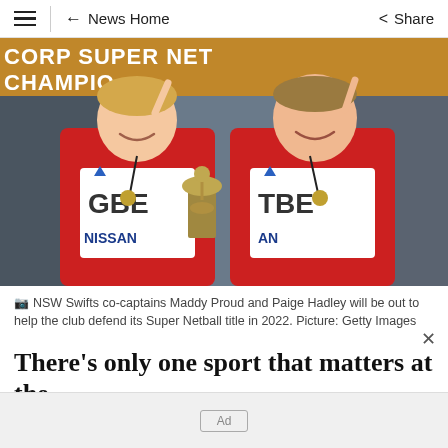≡  ← News Home    Share
[Figure (photo): Two NSW Swifts netball players in red and blue uniforms with 'NISSAN' and 'GBE'/'TBE' on their bibs, smiling and holding a trophy. Background text reads 'CORP SUPER NET CHAMPIO'. Both players are pointing upward.]
NSW Swifts co-captains Maddy Proud and Paige Hadley will be out to help the club defend its Super Netball title in 2022. Picture: Getty Images
There's only one sport that matters at the Commonwealth Games